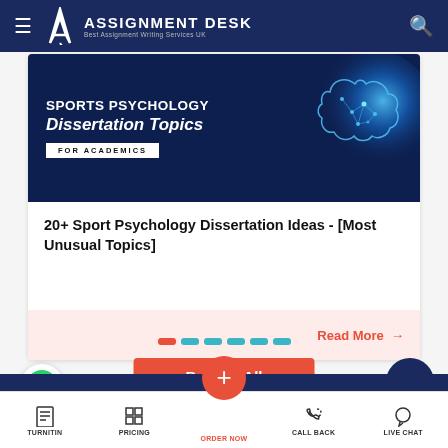Assignment Desk - Best Assignment Writing Services UK
[Figure (screenshot): Sports Psychology Dissertation Topics for Academics banner with brain illustration on dark blue background]
20+ Sport Psychology Dissertation Ideas - [Most Unusual Topics]
Read More →
[Figure (infographic): Pagination dots: red, teal, teal, teal, teal, teal]
Browse All
TURNITIN | PRICING | ORDER NOW | CALL BACK | LIVE CHAT